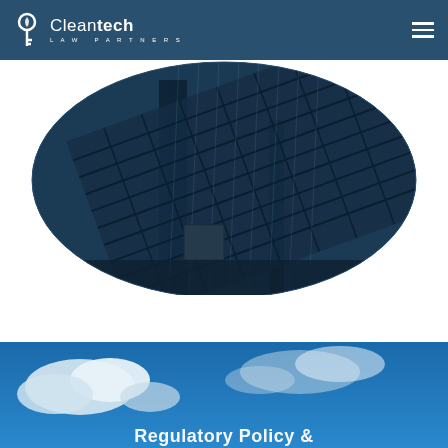Cleantech Law Partners
[Figure (photo): Close-up photograph of a solar panel array shot from below at an angle, with a dark blue tint overlay, displayed in a rounded oval/ellipse crop shape.]
[Figure (photo): Photograph of a blue sky with white clouds, partially visible at the bottom of the page. White bold text is partially visible at the very bottom, beginning with what appears to be 'Regulatory Policy' or similar title text.]